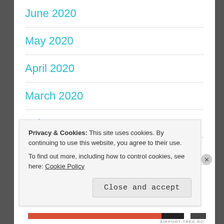June 2020
May 2020
April 2020
March 2020
February 2020
December 2019
September 2019
Privacy & Cookies: This site uses cookies. By continuing to use this website, you agree to their use.
To find out more, including how to control cookies, see here: Cookie Policy
Close and accept